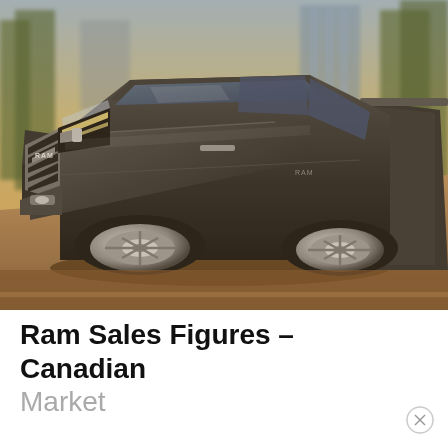[Figure (photo): A dark gray Ram pickup truck driving on a road, photographed from a front-left angle. The truck bears the RAM badge on its grille. City buildings and trees are visible in the background. The image has warm golden tones.]
Ram Sales Figures – Canadian Market